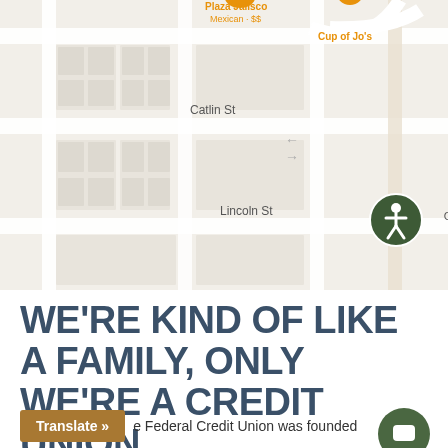[Figure (map): Google Maps screenshot showing downtown street map with streets: W Main St, Catlin St, Lincoln St, 2nd Ave. Points of interest labeled: Plaza Jalisco (Mexican $$), Cup of Jo's, Cowlitz Beekeeping Association, H & N Sheet. Accessibility icon (person in circle) visible in upper right of map.]
WE'RE KIND OF LIKE A FAMILY, ONLY WE'RE A CREDIT UNION
Federal Credit Union was founded
Translate »